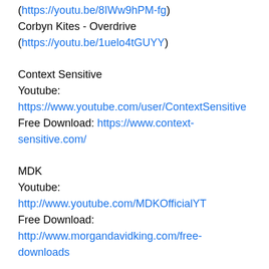(https://youtu.be/8IWw9hPM-fg)
Corbyn Kites - Overdrive (https://youtu.be/1uelo4tGUYY)
Context Sensitive
Youtube:
https://www.youtube.com/user/ContextSensitive
Free Download: https://www.context-sensitive.com/
MDK
Youtube: http://www.youtube.com/MDKOfficialYT
Free Download:
http://www.morgandavidking.com/free-downloads
//
so squid game popped off like a month ago, and so i started making crab game 3 weeks ago, which is basically squid game but not really because that would get me in legal trouble, anyway its a multiplayer